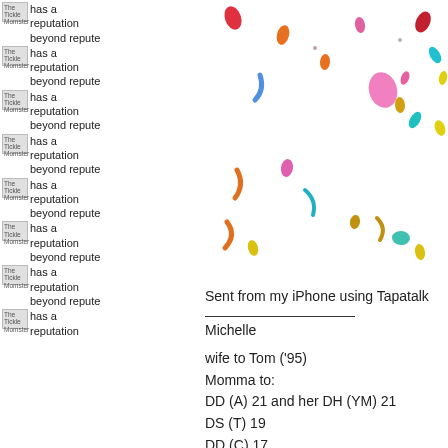The Tickle Momster has a reputation beyond repute (repeated multiple times in left column)
[Figure (illustration): Colorful confetti scattered across the upper right portion of the page]
Sent from my iPhone using Tapatalk
Michelle
wife to Tom ('95)
Momma to:
DD (A) 21 and her DH (YM) 21
DS (T) 19
DD (C) 17
 '07
DS (N) 14